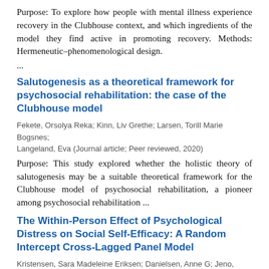Purpose: To explore how people with mental illness experience recovery in the Clubhouse context, and which ingredients of the model they find active in promoting recovery. Methods: Hermeneutic–phenomenological design. ...
Salutogenesis as a theoretical framework for psychosocial rehabilitation: the case of the Clubhouse model
Fekete, Orsolya Reka; Kinn, Liv Grethe; Larsen, Torill Marie Bogsnes; Langeland, Eva (Journal article; Peer reviewed, 2020)
Purpose: This study explored whether the holistic theory of salutogenesis may be a suitable theoretical framework for the Clubhouse model of psychosocial rehabilitation, a pioneer among psychosocial rehabilitation ...
The Within-Person Effect of Psychological Distress on Social Self-Efficacy: A Random Intercept Cross-Lagged Panel Model
Kristensen, Sara Madeleine Eriksen; Danielsen, Anne G; Jeno, Lucas Matias; Larsen, Torill Marie Bogsnes; Urke, Helga Bjørnøy (Journal article; Peer